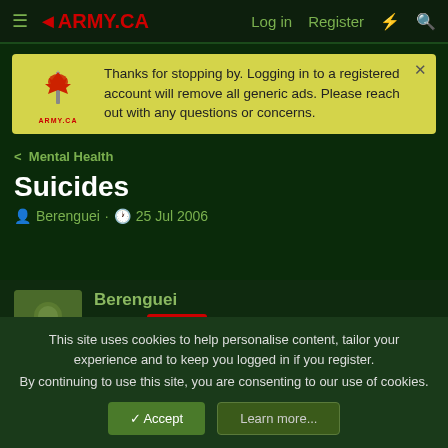ARMY.CA — Log in | Register
Thanks for stopping by. Logging in to a registered account will remove all generic ads. Please reach out with any questions or concerns.
< Mental Health
Suicides
Berenguei · 25 Jul 2006
Berenguei — Banned Banned
This site uses cookies to help personalise content, tailor your experience and to keep you logged in if you register. By continuing to use this site, you are consenting to our use of cookies.